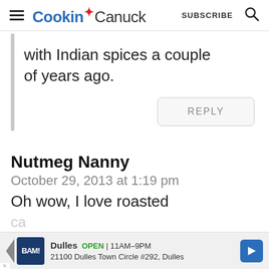Cookin' Canuck  SUBSCRIBE
with Indian spices a couple of years ago.
REPLY
Nutmeg Nanny
October 29, 2013 at 1:19 pm
Oh wow, I love roasted
Dulles  OPEN | 11AM–9PM  21100 Dulles Town Circle #292, Dulles